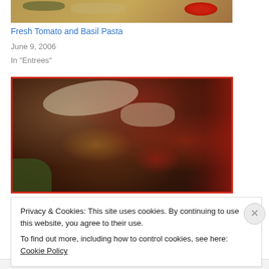[Figure (photo): Top portion of a food photo showing pasta dish with tomatoes and basil, cropped at top edge]
Fresh Tomato and Basil Pasta
June 9, 2006
In "Entrees"
[Figure (photo): Close-up photo of a meatloaf or meat dish topped with melted cheese, tomato sauce, and vegetables on a plate, with a red border]
Privacy & Cookies: This site uses cookies. By continuing to use this website, you agree to their use.
To find out more, including how to control cookies, see here: Cookie Policy
Close and accept